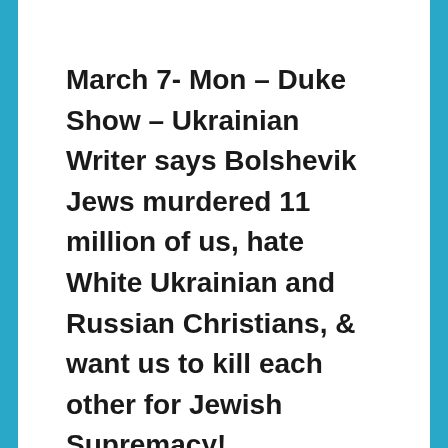March 7- Mon – Duke Show – Ukrainian Writer says Bolshevik Jews murdered 11 million of us, hate White Ukrainian and Russian Christians, & want us to kill each other for Jewish Supremacy!